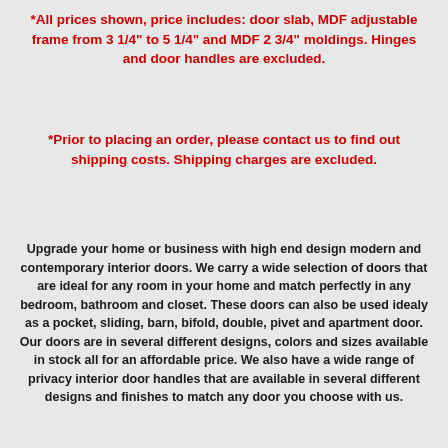*All prices shown, price includes: door slab, MDF adjustable frame from 3 1/4" to 5 1/4" and MDF 2 3/4" moldings. Hinges and door handles are excluded.
*Prior to placing an order, please contact us to find out shipping costs. Shipping charges are excluded.
Upgrade your home or business with high end design modern and contemporary interior doors. We carry a wide selection of doors that are ideal for any room in your home and match perfectly in any bedroom, bathroom and closet. These doors can also be used idealy as a pocket, sliding, barn, bifold, double, pivet and apartment door. Our doors are in several different designs, colors and sizes available in stock all for an affordable price. We also have a wide range of privacy interior door handles that are available in several different designs and finishes to match any door you choose with us.